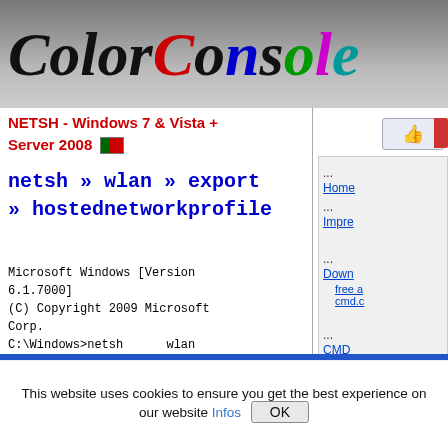ColorConsole
NETSH - Windows 7 & Vista + Server 2008
netsh » wlan » export » hostednetworkprofile
Microsoft Windows [Version 6.1.7000]
(C) Copyright 2009 Microsoft Corp.
C:\Windows>netsh      wlan export  hostednetworkprofile ?

Utilização: export hostednetworkprofile
... Home
... Impre
... Down
   free a
   cmd.c
... CMD
... Netsh
... Netsh
... Netsh
... Powe
... Onlin
This website uses cookies to ensure you get the best experience on our website Infos OK